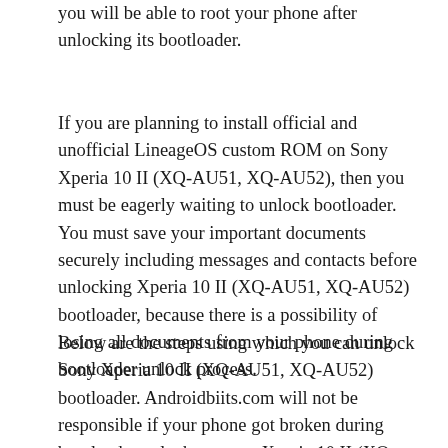you will be able to root your phone after unlocking its bootloader.
If you are planning to install official and unofficial LineageOS custom ROM on Sony Xperia 10 II (XQ-AU51, XQ-AU52), then you must be eagerly waiting to unlock bootloader. You must save your important documents securely including messages and contacts before unlocking Xperia 10 II (XQ-AU51, XQ-AU52) bootloader, because there is a possibility of losing all documents from your phone during bootloader unlock process.
Below are the steps using which you can unlock Sony Xperia 10 II (XQ-AU51, XQ-AU52) bootloader. Androidbiits.com will not be responsible if your phone got broken during bootloader unlock process. Xperia 10 II (XQ-AU51, XQ-AU52) battery must be above 86 percentage before bootloader unlock process. You must follow the next steps to successfully unlock bootloader.